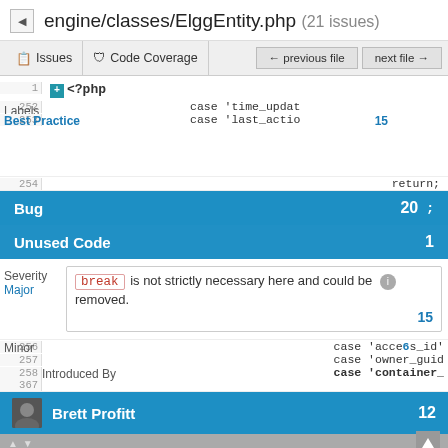engine/classes/ElggEntity.php (21 issues)
Issues | Code Coverage | ← previous file | next file →
1 <?php
Labels
252   case 'time_updat
253   case 'last_actio
Best Practice   15
254   return;
Bug   20   ;
Unused Code   1
Severity
break is not strictly necessary here and could be removed.
Major   15
Minor
256   case 'access_id'
257   case 'owner_guid
258   case 'container_
Introduced By
367
Brett Profitt   12